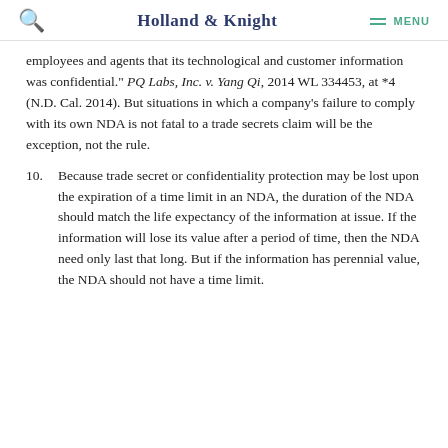Holland & Knight  MENU
employees and agents that its technological and customer information was confidential." PQ Labs, Inc. v. Yang Qi, 2014 WL 334453, at *4 (N.D. Cal. 2014). But situations in which a company's failure to comply with its own NDA is not fatal to a trade secrets claim will be the exception, not the rule.
10. Because trade secret or confidentiality protection may be lost upon the expiration of a time limit in an NDA, the duration of the NDA should match the life expectancy of the information at issue. If the information will lose its value after a period of time, then the NDA need only last that long. But if the information has perennial value, the NDA should not have a time limit.